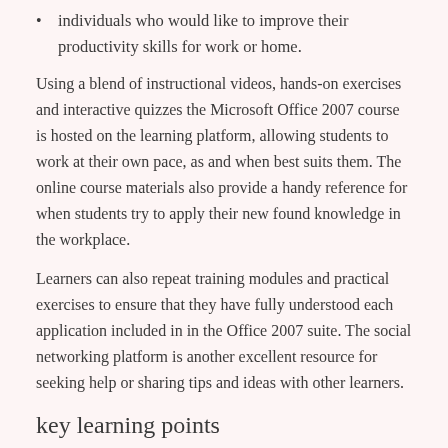individuals who would like to improve their productivity skills for work or home.
Using a blend of instructional videos, hands-on exercises and interactive quizzes the Microsoft Office 2007 course is hosted on the learning platform, allowing students to work at their own pace, as and when best suits them. The online course materials also provide a handy reference for when students try to apply their new found knowledge in the workplace.
Learners can also repeat training modules and practical exercises to ensure that they have fully understood each application included in in the Office 2007 suite. The social networking platform is another excellent resource for seeking help or sharing tips and ideas with other learners.
key learning points
The Microsoft Office 2007 package is a comprehensive,